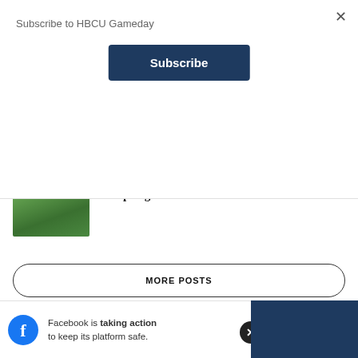Subscribe to HBCU Gameday
Subscribe
[Figure (photo): Partial crowd/fans photo at top of content area]
[Figure (photo): Football field/stadium photo for Virginia Union article]
CIAA
Virginia Union football player dies after collapsing
MORE POSTS
Facebook is taking action to keep its platform safe.